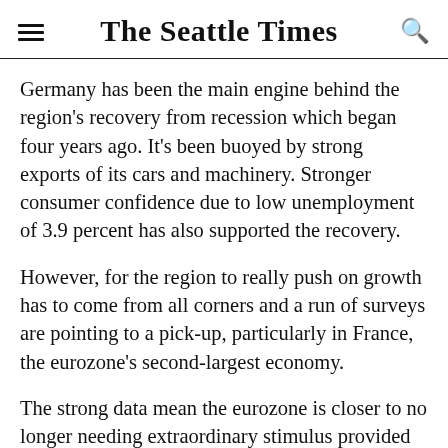The Seattle Times
Germany has been the main engine behind the region's recovery from recession which began four years ago. It's been buoyed by strong exports of its cars and machinery. Stronger consumer confidence due to low unemployment of 3.9 percent has also supported the recovery.
However, for the region to really push on growth has to come from all corners and a run of surveys are pointing to a pick-up, particularly in France, the eurozone's second-largest economy.
The strong data mean the eurozone is closer to no longer needing extraordinary stimulus provided by the European Central Bank through its 60 billion